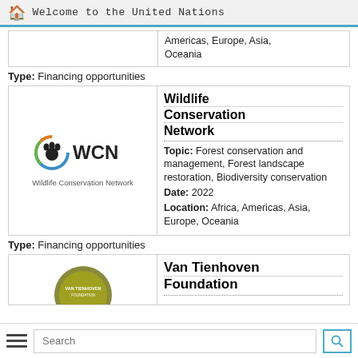Welcome to the United Nations
Americas, Europe, Asia, Oceania
Type: Financing opportunities
[Figure (logo): Wildlife Conservation Network logo: circular paw print icon with blue and green/orange ring, text 'WCN Wildlife Conservation Network']
Wildlife Conservation Network
Topic: Forest conservation and management, Forest landscape restoration, Biodiversity conservation
Date: 2022
Location: Africa, Americas, Asia, Europe, Oceania
Type: Financing opportunities
[Figure (logo): Van Tienhoven Foundation logo (partially visible, circular badge style)]
Van Tienhoven Foundation